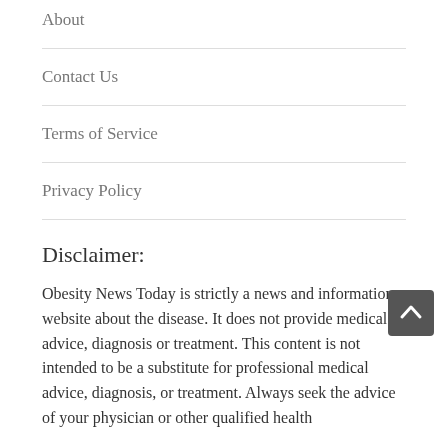About
Contact Us
Terms of Service
Privacy Policy
Disclaimer:
Obesity News Today is strictly a news and information website about the disease. It does not provide medical advice, diagnosis or treatment. This content is not intended to be a substitute for professional medical advice, diagnosis, or treatment. Always seek the advice of your physician or other qualified health